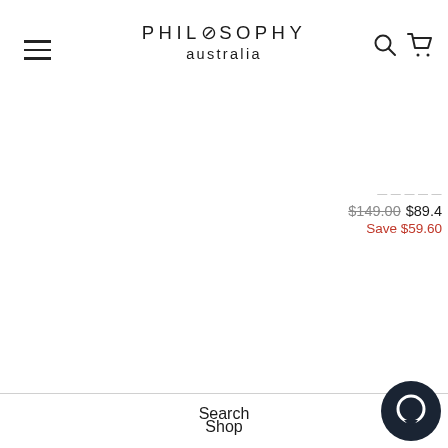PHILOSOPHY australia
$149.00  $89.4
Save $59.60
Search
Shop
Size guide
Shipping + Returns
Terms of Service
Refund policy